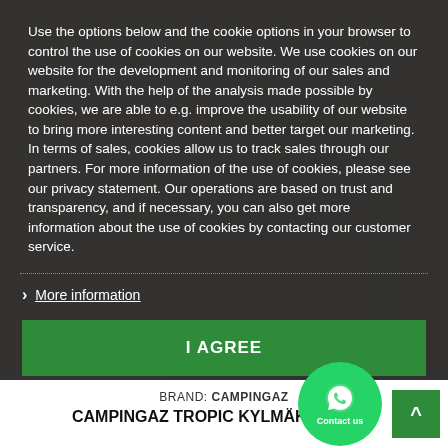[Figure (photo): Background product photo of a dark camping cooler bag, partially visible behind the cookie consent modal overlay.]
Use the options below and the cookie options in your browser to control the use of cookies on our website. We use cookies on our website for the development and monitoring of our sales and marketing. With the help of the analysis made possible by cookies, we are able to e.g. improve the usability of our website to bring more interesting content and better target our marketing. In terms of sales, cookies allow us to track sales through our partners. For more information of the use of cookies, please see our privacy statement. Our operations are based on trust and transparency, and if necessary, you can also get more information about the use of cookies by contacting our customer service.
More information
I AGREE
BRAND: CAMPINGAZ
CAMPINGAZ TROPIC KYLMÄKASSI 20L